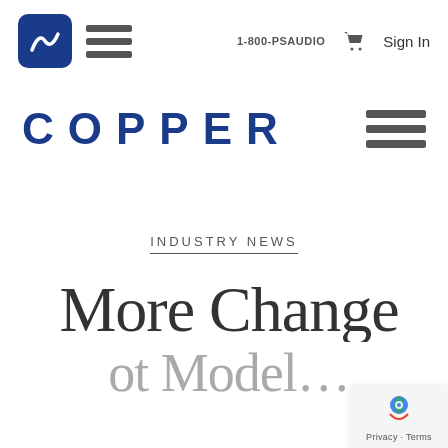1-800-PSAUDIO  Sign In
COPPER
INDUSTRY NEWS
More Change
[Figure (logo): PS Audio logo — blue rounded square with white wave/checkmark icon, followed by hamburger menu icon]